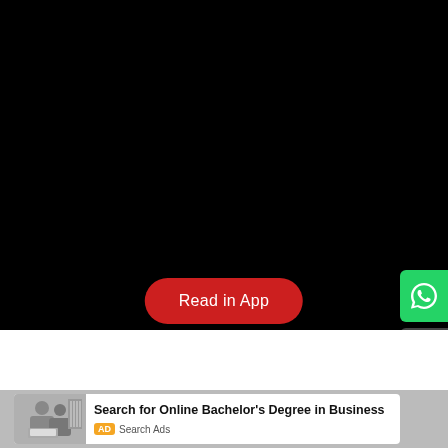[Figure (screenshot): Large black area occupying top portion of the page, representing a dark/unloaded content area]
Read in App
[Figure (other): WhatsApp share button (green rounded rectangle) on right edge]
[Figure (other): Share button (dark gray rounded rectangle) on right edge below WhatsApp button]
Search for Online Bachelor's Degree in Business
AD Search Ads